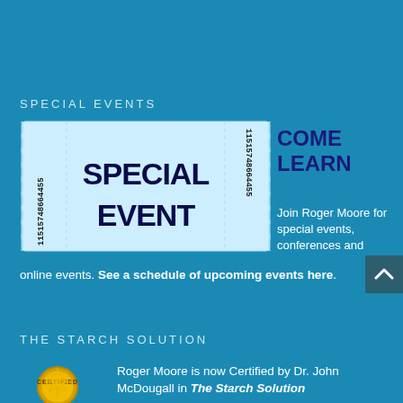SPECIAL EVENTS
[Figure (illustration): Blue event ticket with text 'SPECIAL EVENT' and barcode numbers 11515748664455 on both sides]
COME LEARN
Join Roger Moore for special events, conferences and online events. See a schedule of upcoming events here.
THE STARCH SOLUTION
[Figure (logo): Certified seal/badge in gold/yellow]
Roger Moore is now Certified by Dr. John McDougall in The Starch Solution